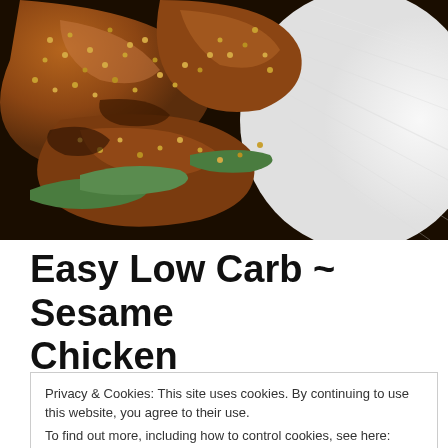[Figure (photo): Close-up photo of sesame chicken with glaze and sesame seeds, served with white rice on a dark background]
Easy Low Carb ~ Sesame Chicken
Privacy & Cookies: This site uses cookies. By continuing to use this website, you agree to their use.
To find out more, including how to control cookies, see here: Cookie Policy
Close and accept
Hello friends I have been working on lowering the carb count on my recipe for sesame chicken.  It has taken several attempts and finally got it right.  Not only was I able to lower the carbs, the flavor